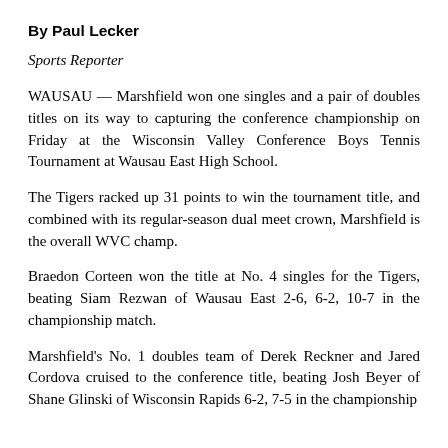By Paul Lecker
Sports Reporter
WAUSAU — Marshfield won one singles and a pair of doubles titles on its way to capturing the conference championship on Friday at the Wisconsin Valley Conference Boys Tennis Tournament at Wausau East High School.
The Tigers racked up 31 points to win the tournament title, and combined with its regular-season dual meet crown, Marshfield is the overall WVC champ.
Braedon Corteen won the title at No. 4 singles for the Tigers, beating Siam Rezwan of Wausau East 2-6, 6-2, 10-7 in the championship match.
Marshfield's No. 1 doubles team of Derek Reckner and Jared Cordova cruised to the conference title, beating Josh Beyer of Shane Glinski of Wisconsin Rapids 6-2, 7-5 in the championship